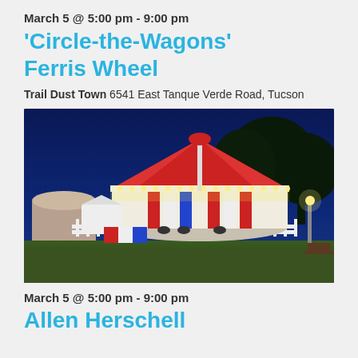March 5 @ 5:00 pm - 9:00 pm
‘Circle-the-Wagons’ Ferris Wheel
Trail Dust Town 6541 East Tanque Verde Road, Tucson
[Figure (photo): Nighttime photo of a brightly lit carousel/merry-go-round with a red roof at Trail Dust Town, surrounded by a white picket fence, green lawn, and trees against a deep blue evening sky.]
March 5 @ 5:00 pm - 9:00 pm
Allen Herschell